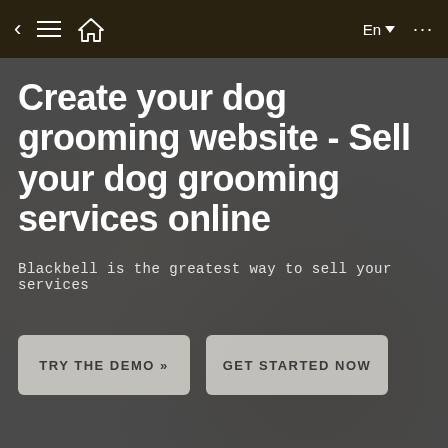< ≡ 🏠   En ▼  ...
Create your dog grooming website - Sell your dog grooming services online
Blackbell is the greatest way to sell your services
TRY THE DEMO »
GET STARTED NOW